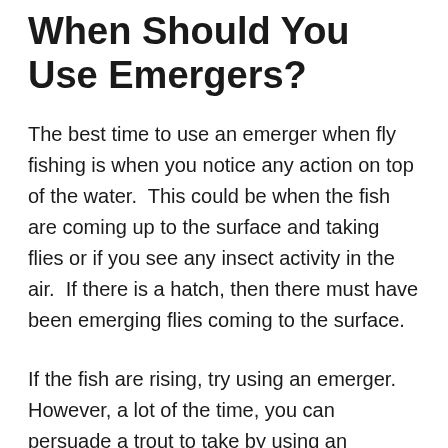When Should You Use Emergers?
The best time to use an emerger when fly fishing is when you notice any action on top of the water.  This could be when the fish are coming up to the surface and taking flies or if you see any insect activity in the air.  If there is a hatch, then there must have been emerging flies coming to the surface.
If the fish are rising, try using an emerger. However, a lot of the time, you can persuade a trout to take by using an emerger, even when there is no noticeable activity on the surface.  Emergers are great patterns for all levels of the water column.